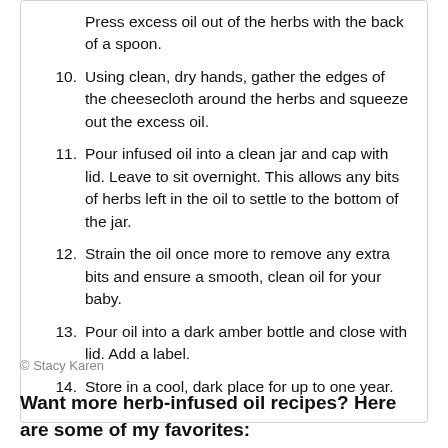Press excess oil out of the herbs with the back of a spoon.
10. Using clean, dry hands, gather the edges of the cheesecloth around the herbs and squeeze out the excess oil.
11. Pour infused oil into a clean jar and cap with lid. Leave to sit overnight. This allows any bits of herbs left in the oil to settle to the bottom of the jar.
12. Strain the oil once more to remove any extra bits and ensure a smooth, clean oil for your baby.
13. Pour oil into a dark amber bottle and close with lid. Add a label.
14. Store in a cool, dark place for up to one year.
© Stacy Karen
Want more herb-infused oil recipes? Here are some of my favorites: